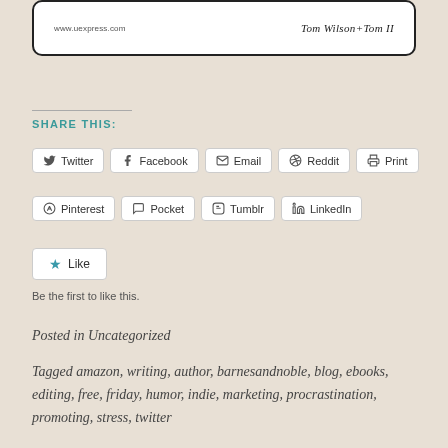[Figure (illustration): Comic strip panel footer showing www.uexpress.com URL and artist signature 'Tom Wilson + Tom II' in script, with rounded border]
SHARE THIS:
Twitter, Facebook, Email, Reddit, Print, Pinterest, Pocket, Tumblr, LinkedIn share buttons
Like
Be the first to like this.
Posted in Uncategorized
Tagged amazon, writing, author, barnesandnoble, blog, ebooks, editing, free, friday, humor, indie, marketing, procrastination, promoting, stress, twitter